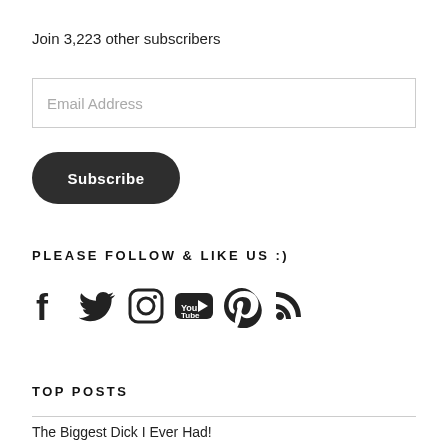Join 3,223 other subscribers
Email Address
Subscribe
PLEASE FOLLOW & LIKE US :)
[Figure (infographic): Social media icons: Facebook, Twitter, Instagram, YouTube, Pinterest, RSS]
TOP POSTS
The Biggest Dick I Ever Had!